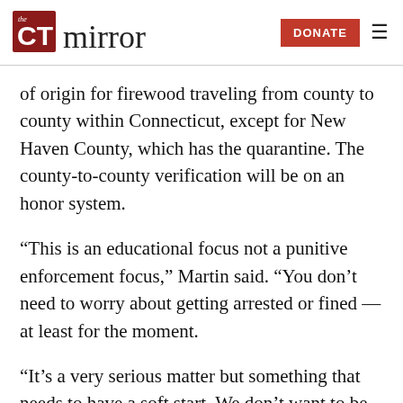CT Mirror | DONATE
of origin for firewood traveling from county to county within Connecticut, except for New Haven County, which has the quarantine. The county-to-county verification will be on an honor system.
“This is an educational focus not a punitive enforcement focus,” Martin said. “You don’t need to worry about getting arrested or fined — at least for the moment.
“It’s a very serious matter but something that needs to have a soft start. We don’t want to be